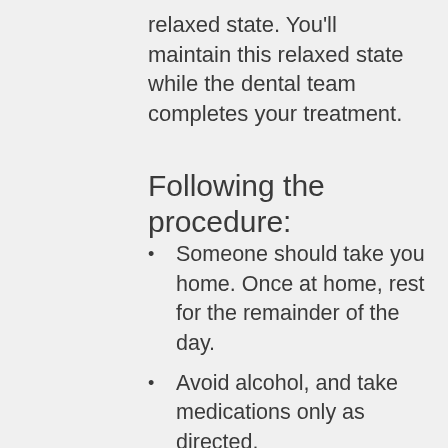relaxed state. You'll maintain this relaxed state while the dental team completes your treatment.
Following the procedure:
Someone should take you home. Once at home, rest for the remainder of the day.
Avoid alcohol, and take medications only as directed.
Avoid hazardous or strenuous activities. It's best not to eat a heavy meal immediately following your procedure.
Avoid driving on any vehicle for the...